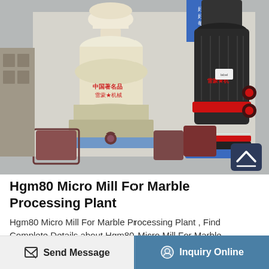[Figure (photo): Industrial grinding mill machines in a warehouse setting. On the left is a cream/beige colored HGM80 Micro Mill with Chinese text markings in red. On the right is a dark gray/black similar machine also with Chinese text markings in red and a red band around the middle. Blue signage is visible in the background. A scroll-to-top button (dark navy with upward chevron icon) is overlaid in the lower right corner of the image.]
Hgm80 Micro Mill For Marble Processing Plant
Hgm80 Micro Mill For Marble Processing Plant , Find Complete Details about Hgm80 Micro Mill For Marble Processing Plant,Grinding Mill,Ultrafine
Send Message | Inquiry Online